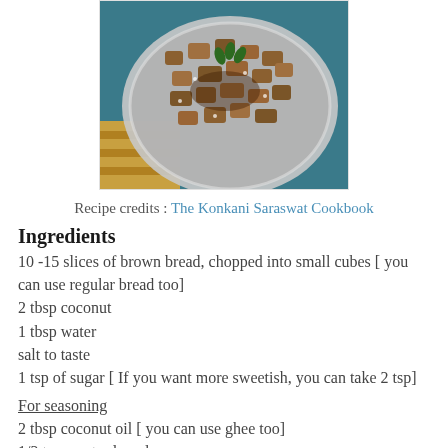[Figure (photo): Photo of a dish of brown bread upkari/stir fry in a metal plate, garnished with curry leaves, served on a wooden surface]
Recipe credits : The Konkani Saraswat Cookbook
Ingredients
10 -15 slices of brown bread, chopped into small cubes [ you can use regular bread too]
2 tbsp coconut
1 tbsp water
salt to taste
1 tsp of sugar [ If you want more sweetish, you can take 2 tsp]
For seasoning
2 tbsp coconut oil [ you can use ghee too]
1/2 tsp mustard seeds
1/2 tsp split urad dal
2 red chillies, broken into pieces